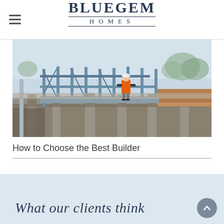BLUEGEM HOMES
[Figure (photo): Construction site photo showing a worker in orange high-visibility vest and white hard hat standing on top of steel-framed structure at upper floor level, with timber framing materials visible]
How to Choose the Best Builder
What our clients think